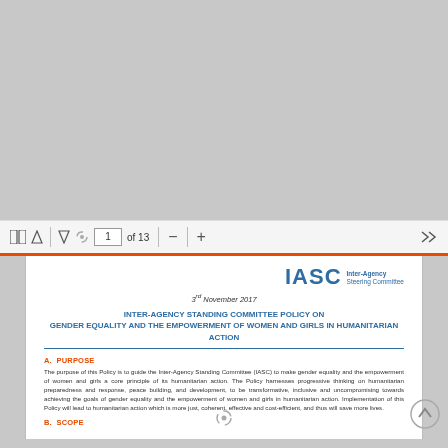[Figure (screenshot): PDF viewer toolbar showing navigation controls: two-panel view icon, up arrow, down arrow, loading spinner, page number box showing '1' of 13, minus zoom, plus zoom, vertical separator, forward navigation arrows]
IASC Inter-Agency Steering Committee
3rd November 2017
INTER-AGENCY STANDING COMMITTEE POLICY ON
GENDER EQUALITY AND THE EMPOWERMENT OF WOMEN AND GIRLS IN HUMANITARIAN ACTION
A.  PURPOSE
The purpose of this Policy is to guide the Inter-Agency Standing Committee (IASC) to make gender equality and the empowerment of women and girls a core principle of its humanitarian action. The Policy harnesses progressive thinking on humanitarian preparedness and response, peace building, and development, to be transformative, inclusive and uncompromising towards achieving the goals of gender equality and the empowerment of women and girls in humanitarian action. Implementation of this Policy will lead to humanitarian action which is more just, coherent, effective and cost-efficient, and thus will save more lives.
B.  SCOPE